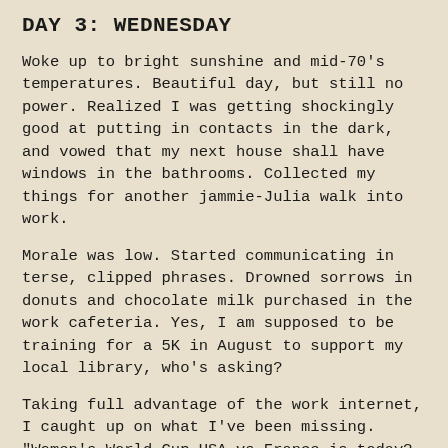DAY 3: WEDNESDAY
Woke up to bright sunshine and mid-70's temperatures. Beautiful day, but still no power. Realized I was getting shockingly good at putting in contacts in the dark, and vowed that my next house shall have windows in the bathrooms. Collected my things for another jammie-Julia walk into work.
Morale was low. Started communicating in terse, clipped phrases. Drowned sorrows in donuts and chocolate milk purchased in the work cafeteria. Yes, I am supposed to be training for a 5K in August to support my local library, who's asking?
Taking full advantage of the work internet, I caught up on what I've been missing. "Women's World Cup USA vs France is today? Screw work, I'm watching the game down in the cafeteria because I deserve it!"
And then I realized I'm a wuss.